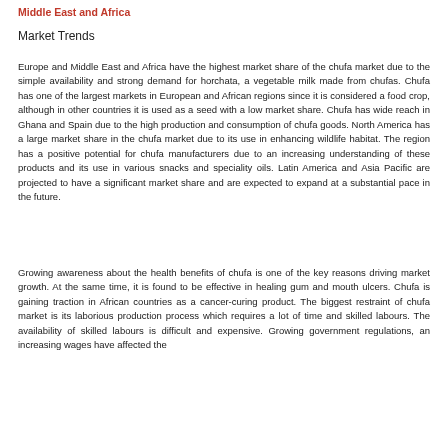Middle East and Africa
Market Trends
Europe and Middle East and Africa have the highest market share of the chufa market due to the simple availability and strong demand for horchata, a vegetable milk made from chufas. Chufa has one of the largest markets in European and African regions since it is considered a food crop, although in other countries it is used as a seed with a low market share. Chufa has wide reach in Ghana and Spain due to the high production and consumption of chufa goods. North America has a large market share in the chufa market due to its use in enhancing wildlife habitat. The region has a positive potential for chufa manufacturers due to an increasing understanding of these products and its use in various snacks and speciality oils. Latin America and Asia Pacific are projected to have a significant market share and are expected to expand at a substantial pace in the future.
Growing awareness about the health benefits of chufa is one of the key reasons driving market growth. At the same time, it is found to be effective in healing gum and mouth ulcers. Chufa is gaining traction in African countries as a cancer-curing product. The biggest restraint of chufa market is its laborious production process which requires a lot of time and skilled labours. The availability of skilled labours is difficult and expensive. Growing government regulations, an increasing wages have affected the